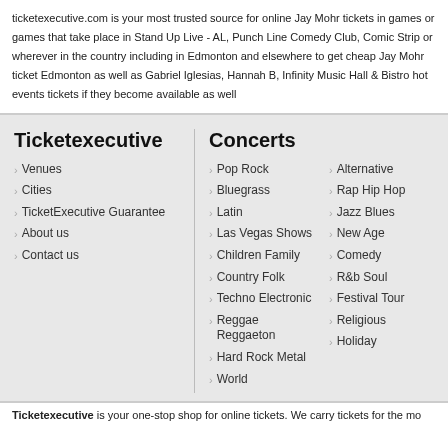ticketexecutive.com is your most trusted source for online Jay Mohr tickets in games or games that take place in Stand Up Live - AL, Punch Line Comedy Club, Comic Strip or wherever in the country including in Edmonton and elsewhere to get cheap Jay Mohr ticket Edmonton as well as Gabriel Iglesias, Hannah B, Infinity Music Hall & Bistro hot events tickets if they become available as well
Ticketexecutive
Venues
Cities
TicketExecutive Guarantee
About us
Contact us
Concerts
Pop Rock
Bluegrass
Latin
Las Vegas Shows
Children Family
Country Folk
Techno Electronic
Reggae Reggaeton
Hard Rock Metal
World
Alternative
Rap Hip Hop
Jazz Blues
New Age
Comedy
R&b Soul
Festival Tour
Religious
Holiday
Ticketexecutive is your one-stop shop for online tickets. We carry tickets for the mo